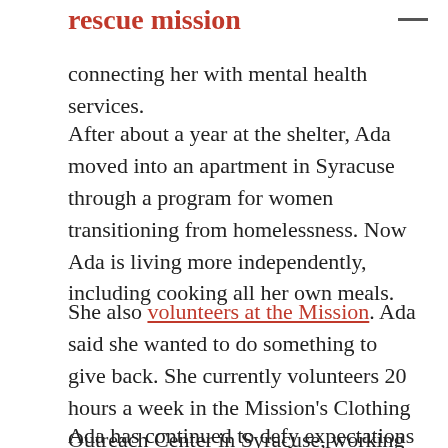rescue mission
connecting her with mental health services.
After about a year at the shelter, Ada moved into an apartment in Syracuse through a program for women transitioning from homelessness. Now Ada is living more independently, including cooking all her own meals.
She also volunteers at the Mission. Ada said she wanted to do something to give back. She currently volunteers 20 hours a week in the Mission's Clothing Outreach Center in Syracuse, working the front desk and putting clothing on racks.
Ada has continued to defy expectations of those